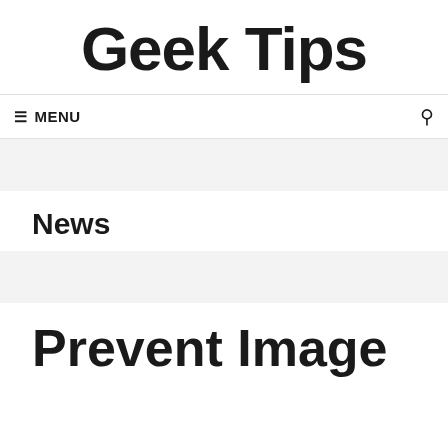Geek Tips
≡ MENU
News
Prevent Image